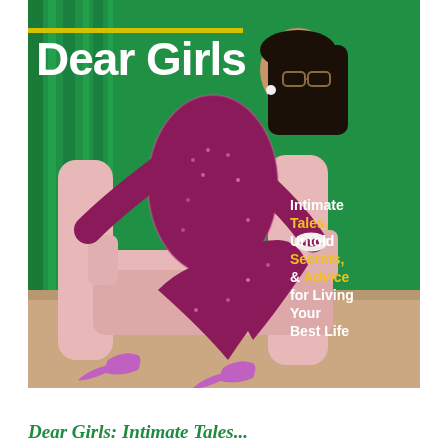[Figure (photo): Book cover for 'Dear Girls' by Ali Wong. A woman in a sparkly magenta/red sequin outfit sits in a pink armchair against a green curtain background. She wears glasses and pink heels. The cover shows the title 'Dear Girls' in large white bold text with a yellow horizontal line accent above it. On the right side of the cover is text reading 'Intimate Tales, Untold Secrets, & Advice for Living Your Best Life' with certain words in yellow.]
Dear Girls: Intimate Tales...